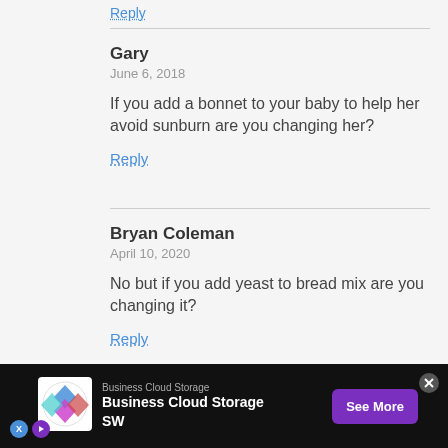Reply
Gary
June 6, 2018

If you add a bonnet to your baby to help her avoid sunburn are you changing her?

Reply
Bryan Coleman
April 10, 2020

No but if you add yeast to bread mix are you changing it?

Reply
Anna
October 3, 2012

DEFINITELY...
[Figure (screenshot): Advertisement bar at bottom: Business Cloud Storage SW with logo, 'See More' button, and close/skip controls on dark background]